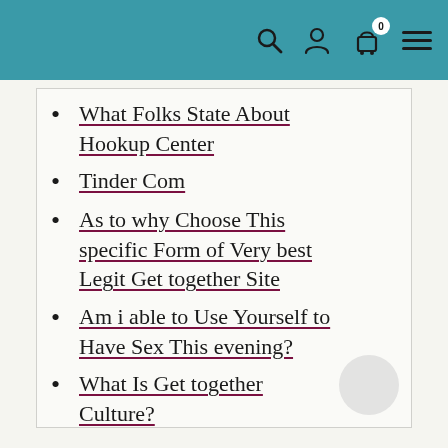Navigation header with search, user, cart, and menu icons
What Folks State About Hookup Center
Tinder Com
As to why Choose This specific Form of Very best Legit Get together Site
Am i able to Use Yourself to Have Sex This evening?
What Is Get together Culture?